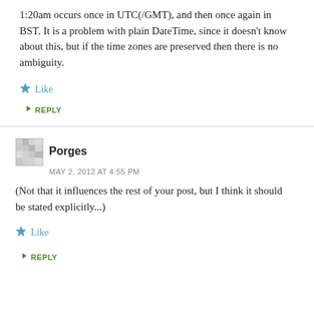1:20am occurs once in UTC(/GMT), and then once again in BST. It is a problem with plain DateTime, since it doesn't know about this, but if the time zones are preserved then there is no ambiguity.
Like
REPLY
Porges
MAY 2, 2012 AT 4:55 PM
(Not that it influences the rest of your post, but I think it should be stated explicitly...)
Like
REPLY